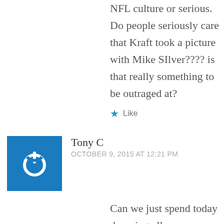NFL culture or serious. Do people seriously care that Kraft took a picture with Mike SIlver???? is that really something to be outraged at?
Like
Tony C
OCTOBER 9, 2015 AT 12:21 PM
Can we just spend today dumping all over Tomase again? The Cowboys aren't taping their practices this week, because, you know....the Patriots “spy” on other teams practices, or something.That turd should never have been allowed to spill